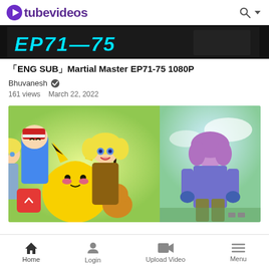tubevideos
[Figure (screenshot): Top thumbnail showing EP71-75 text in cyan on dark background]
「ENG SUB」Martial Master EP71-75 1080P
Bhuvanesh ✓
161 views   March 22, 2022
[Figure (screenshot): Anime screenshot showing Pokemon characters including Ash, Pikachu, and other characters from the XY series, split into two panels]
Home   Login   Upload Video   Menu